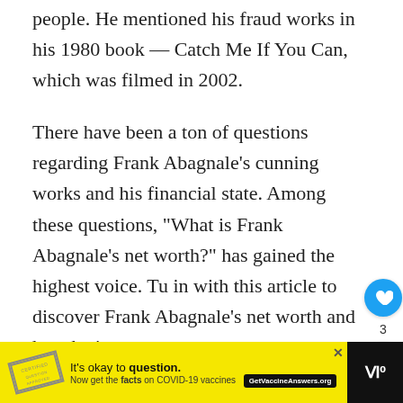people. He mentioned his fraud works in his 1980 book — Catch Me If You Can, which was filmed in 2002.
There have been a ton of questions regarding Frank Abagnale's cunning works and his financial state. Among these questions, "What is Frank Abagnale's net worth?" has gained the highest voice. Tu in with this article to discover Frank Abagnale's net worth and how he it...
[Figure (screenshot): UI overlay with a blue heart/like button showing a heart icon, a count of 3, and a share button with a share icon.]
[Figure (infographic): What's Next panel showing a thumbnail image of Trent Reznor and text 'WHAT'S NEXT → Trent Reznor Net Worth']
[Figure (infographic): Advertisement banner: yellow background with a stamp graphic, text 'It's okay to question. Now get the facts on COVID-19 vaccines GetVaccineAnswers.org', and a dark right panel with white text resembling a logo.]